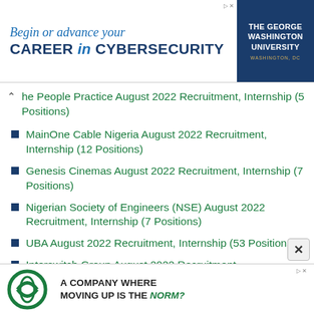[Figure (infographic): Top advertisement banner: 'Begin or advance your CAREER in CYBERSECURITY' with The George Washington University logo on the right]
The People Practice August 2022 Recruitment, Internship (5 Positions)
MainOne Cable Nigeria August 2022 Recruitment, Internship (12 Positions)
Genesis Cinemas August 2022 Recruitment, Internship (7 Positions)
Nigerian Society of Engineers (NSE) August 2022 Recruitment, Internship (7 Positions)
UBA August 2022 Recruitment, Internship (53 Positions)
Interswitch Group August 2022 Recruitment,
[Figure (infographic): Bottom advertisement banner: Ecobank logo with text 'A COMPANY WHERE MOVING UP IS THE NORM?']